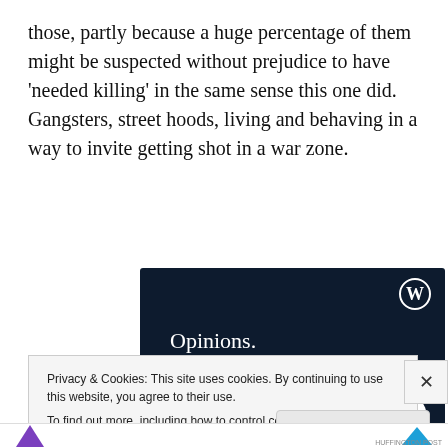those, partly because a huge percentage of them might be suspected without prejudice to have 'needed killing' in the same sense this one did.  Gangsters, street hoods, living and behaving in a way to invite getting shot in a war zone.
[Figure (other): Advertisement banner with dark navy background showing text 'Opinions. We all have them!' with a WordPress logo in the top right, a pink button at the bottom left, and a white circle at the bottom right.]
Privacy & Cookies: This site uses cookies. By continuing to use this website, you agree to their use.
To find out more, including how to control cookies, see here: Cookie Policy
Close and accept